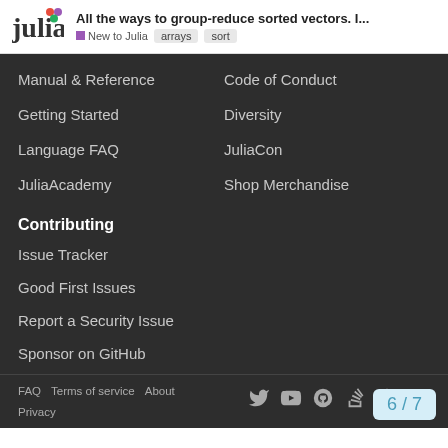All the ways to group-reduce sorted vectors. I... | New to Julia | arrays | sort
Manual & Reference
Code of Conduct
Getting Started
Diversity
Language FAQ
JuliaCon
JuliaAcademy
Shop Merchandise
Contributing
Issue Tracker
Good First Issues
Report a Security Issue
Sponsor on GitHub
FAQ  Terms of service  About  Privacy  6 / 7